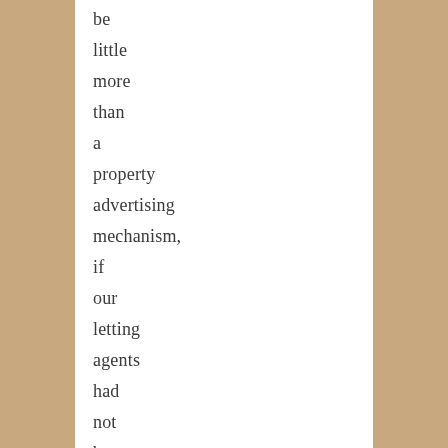be little more than a property advertising mechanism, if our letting agents had not been able to speak fantastic English, then I